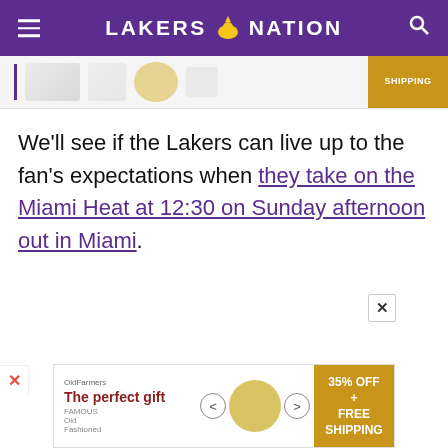LAKERS NATION
[Figure (screenshot): Advertisement banner with product images and gold shipping tag]
We'll see if the Lakers can live up to the fan's expectations when they take on the Miami Heat at 12:30 on Sunday afternoon out in Miami.
[Figure (screenshot): Bottom advertisement banner: The perfect gift, 35% OFF + FREE SHIPPING]